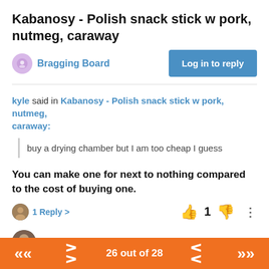Kabanosy - Polish snack stick w pork, nutmeg, caraway
Bragging Board
Log in to reply
kyle said in Kabanosy - Polish snack stick w pork, nutmeg, caraway:
buy a drying chamber but I am too cheap I guess
You can make one for next to nothing compared to the cost of buying one.
1 Reply >
1
kyle
REGULAR CONTRIBUTORS VETERAN CANNING TEAM BLUE POWER USER
26 out of 28